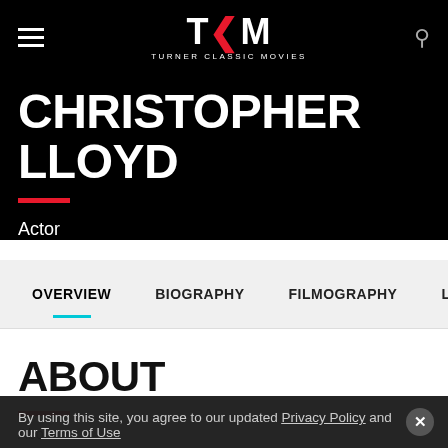TCM TURNER CLASSIC MOVIES
CHRISTOPHER LLOYD
Actor
OVERVIEW
BIOGRAPHY
FILMOGRAPHY
ABOUT
About
Chris Lloyd
By using this site, you agree to our updated Privacy Policy and our Terms of Use